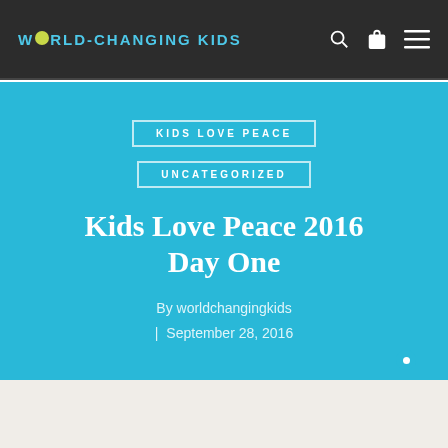WORLD-CHANGING KIDS
KIDS LOVE PEACE
UNCATEGORIZED
Kids Love Peace 2016 Day One
By worldchangingkids | September 28, 2016